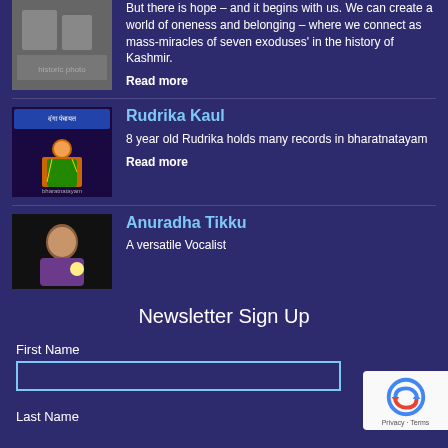But there is hope – and it begins with us. We can create a world of oneness and belonging – where we connect as mass-miracles of seven exoduses' in the history of Kashmir.
Read more
[Figure (photo): A black and white historic photograph of two people]
Rudrika Kaul
8 year old Rudrika holds many records in bharatnatayam
Read more
[Figure (photo): A dancer in colorful bharatnatayam costume performing on stage]
Anuradha Tikku
A versatile Vocalist
[Figure (photo): A woman singing or performing, close-up portrait]
Newsletter Sign Up
First Name
Last Name